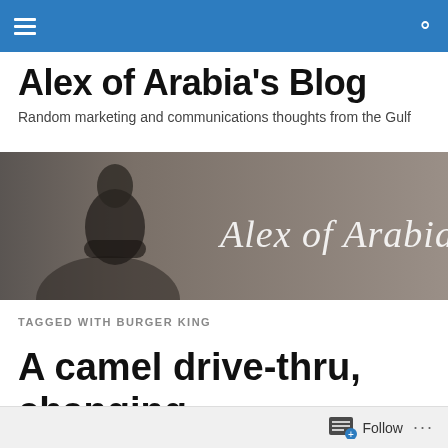Alex of Arabia's Blog (navigation bar with hamburger menu and search icon)
Alex of Arabia's Blog
Random marketing and communications thoughts from the Gulf
[Figure (photo): Black and white promotional banner photo of a man with arms crossed on the left, with stylized cursive text 'Alex of Arabia' on the right against a warm grey background]
TAGGED WITH BURGER KING
A camel drive-thru, changing
Follow ...